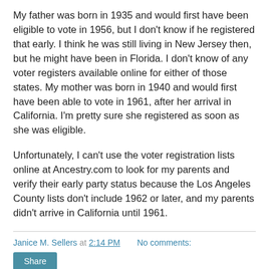My father was born in 1935 and would first have been eligible to vote in 1956, but I don't know if he registered that early.  I think he was still living in New Jersey then, but he might have been in Florida.  I don't know of any voter registers available online for either of those states.  My mother was born in 1940 and would first have been able to vote in 1961, after her arrival in California.  I'm pretty sure she registered as soon as she was eligible.
Unfortunately, I can't use the voter registration lists online at Ancestry.com to look for my parents and verify their early party status because the Los Angeles County lists don't include 1962 or later, and my parents didn't arrive in California until 1961.
Janice M. Sellers at 2:14 PM    No comments:
Share
Thursday, November 3, 2016
Treasure Chest Thursday: Jean La